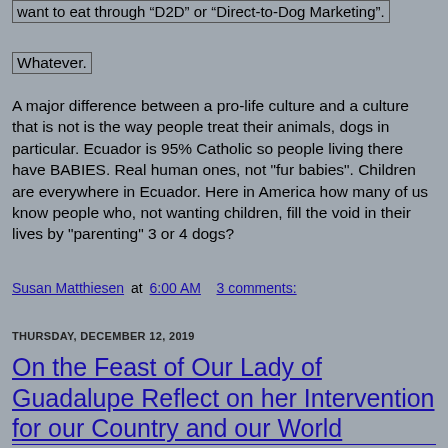want to eat through “D2D” or “Direct-to-Dog Marketing”.
Whatever.
A major difference between a pro-life culture and a culture that is not is the way people treat their animals, dogs in particular. Ecuador is 95% Catholic so people living there have BABIES. Real human ones, not "fur babies". Children are everywhere in Ecuador. Here in America how many of us know people who, not wanting children, fill the void in their lives by "parenting" 3 or 4 dogs?
Susan Matthiesen at 6:00 AM    3 comments:
THURSDAY, DECEMBER 12, 2019
On the Feast of Our Lady of Guadalupe Reflect on her Intervention for our Country and our World